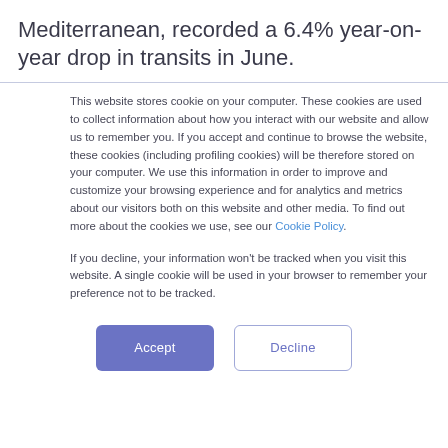Mediterranean, recorded a 6.4% year-on-year drop in transits in June.
This website stores cookie on your computer. These cookies are used to collect information about how you interact with our website and allow us to remember you. If you accept and continue to browse the website, these cookies (including profiling cookies) will be therefore stored on your computer. We use this information in order to improve and customize your browsing experience and for analytics and metrics about our visitors both on this website and other media. To find out more about the cookies we use, see our Cookie Policy.
If you decline, your information won't be tracked when you visit this website. A single cookie will be used in your browser to remember your preference not to be tracked.
Accept | Decline